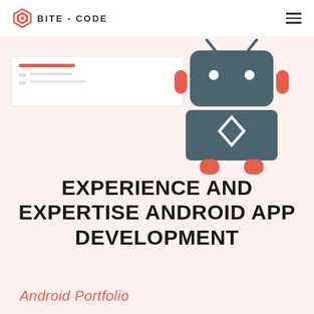BITE-CODE
[Figure (illustration): Android robot mascot illustration in red and dark teal/slate color with a diamond code symbol on its body, partially overlapping a white mockup card UI element showing a red bar and gray lines on a light pink background]
EXPERIENCE AND EXPERTISE ANDROID APP DEVELOPMENT
Android Portfolio